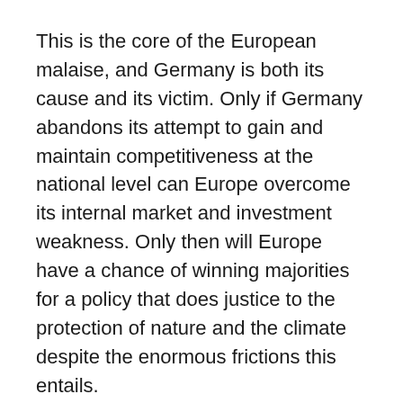This is the core of the European malaise, and Germany is both its cause and its victim. Only if Germany abandons its attempt to gain and maintain competitiveness at the national level can Europe overcome its internal market and investment weakness. Only then will Europe have a chance of winning majorities for a policy that does justice to the protection of nature and the climate despite the enormous frictions this entails.
Europe's plight is best illustrated by unemployment, which just won't go away. If one compares the development of unemployment rates in Europe (EU and